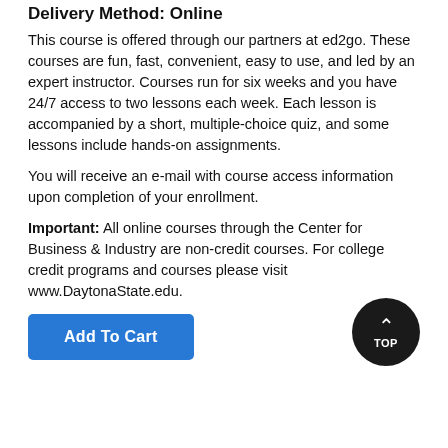Delivery Method: Online
This course is offered through our partners at ed2go. These courses are fun, fast, convenient, easy to use, and led by an expert instructor. Courses run for six weeks and you have 24/7 access to two lessons each week. Each lesson is accompanied by a short, multiple-choice quiz, and some lessons include hands-on assignments.
You will receive an e-mail with course access information upon completion of your enrollment.
Important: All online courses through the Center for Business & Industry are non-credit courses. For college credit programs and courses please visit www.DaytonaState.edu.
[Figure (other): Dark circular 'TOP' scroll-to-top button with upward chevron arrow, positioned in lower right area of page]
[Figure (other): Blue 'Add To Cart' button]